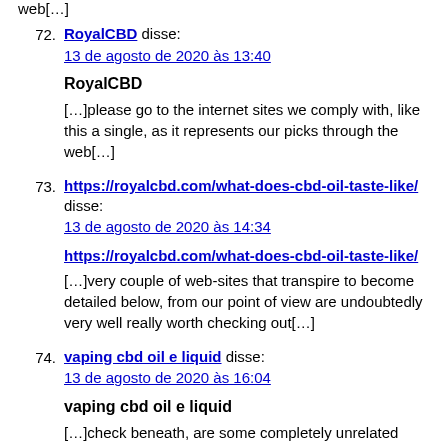web[…]
72. RoyalCBD disse:
13 de agosto de 2020 às 13:40

RoyalCBD

[…]please go to the internet sites we comply with, like this a single, as it represents our picks through the web[…]
73. https://royalcbd.com/what-does-cbd-oil-taste-like/ disse:
13 de agosto de 2020 às 14:34

https://royalcbd.com/what-does-cbd-oil-taste-like/

[…]very couple of web-sites that transpire to become detailed below, from our point of view are undoubtedly very well really worth checking out[…]
74. vaping cbd oil e liquid disse:
13 de agosto de 2020 às 16:04

vaping cbd oil e liquid

[…]check beneath, are some completely unrelated websites to ours, however, they're most trustworthy sources that we use[…]